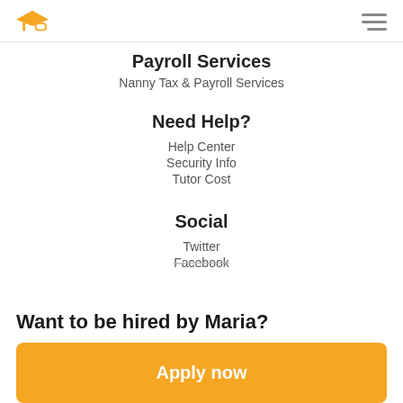Logo and navigation menu
Payroll Services
Nanny Tax & Payroll Services
Need Help?
Help Center
Security Info
Tutor Cost
Social
Twitter
Facebook
Want to be hired by Maria?
Apply now